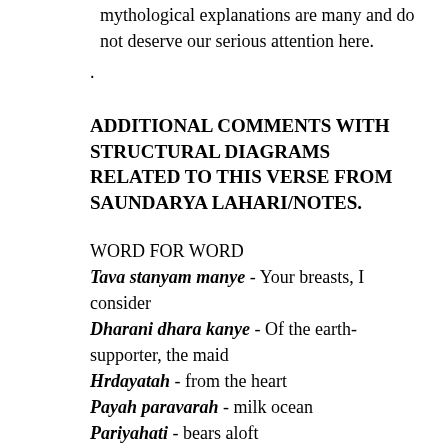mythological explanations are many and do not deserve our serious attention here.
.
ADDITIONAL COMMENTS WITH STRUCTURAL DIAGRAMS RELATED TO THIS VERSE FROM SAUNDARYA LAHARI/NOTES.
WORD FOR WORD
Tava stanyam manye - Your breasts, I consider
Dharani dhara kanye - Of the earth-supporter, the maid
Hrdayatah - from the heart
Payah paravarah - milk ocean
Pariyahati - bears aloft